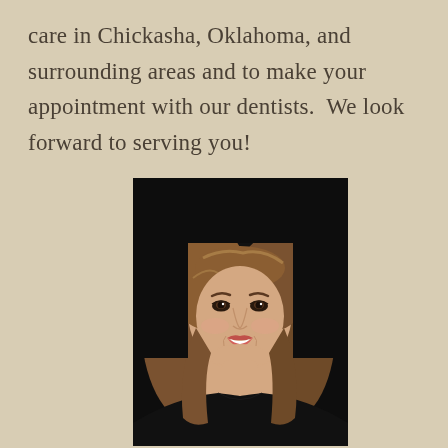care in Chickasha, Oklahoma, and surrounding areas and to make your appointment with our dentists.  We look forward to serving you!
[Figure (photo): Professional headshot of a smiling woman with shoulder-length brown hair, wearing a black top, against a dark background.]